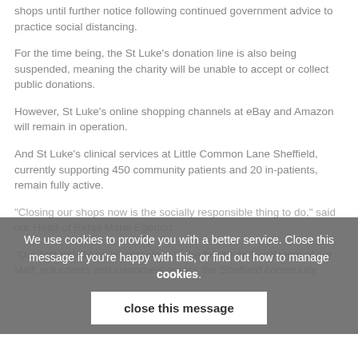shops until further notice following continued government advice to practice social distancing.
For the time being, the St Luke's donation line is also being suspended, meaning the charity will be unable to accept or collect public donations.
However, St Luke's online shopping channels at eBay and Amazon will remain in operation.
And St Luke's clinical services at Little Common Lane Sheffield, currently supporting 450 community patients and 20 in-patients, remain fully active.
"Closing our shops now is the socially responsible thing to do," said our Head of Retail Marie Egerton.
"Our first priority on all occasions is the health and wellbeing of our staff, volunteers and customers across the Sheffield community.
We use cookies to provide you with a better service. Close this message if you're happy with this, or find out how to manage cookies.
close this message